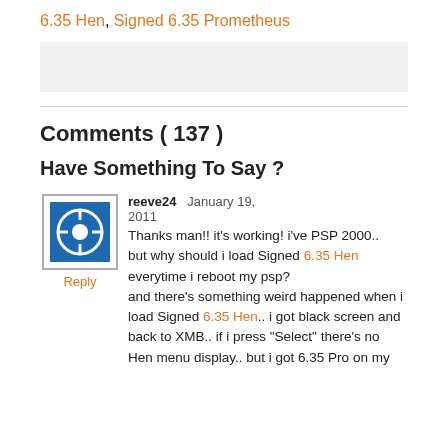6.35 Hen, Signed 6.35 Prometheus
[Figure (other): Gray advertisement/placeholder box]
Comments ( 137 )
Have Something To Say ?
reeve24  January 19, 2011  Thanks man!! it's working! i've PSP 2000.. but why should i load Signed 6.35 Hen everytime i reboot my psp? and there's something weird happened when i load Signed 6.35 Hen.. i got black screen and back to XMB.. if i press "Select" there's no Hen menu display.. but i got 6.35 Pro on my